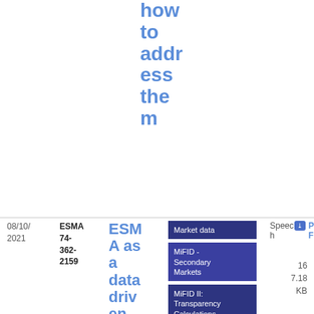how to address them
08/10/2021
ESMA 74-362-2159
ESMA as a data driven regulator and supervisor- AFME 5th App
Market data
MiFID - Secondary Markets
MiFID II: Transparency Calculations and DVC
Post Trading
Risk Analysis & Economics - Markets Infrastructure Investors
Speech
PDF
16
7.18 KB